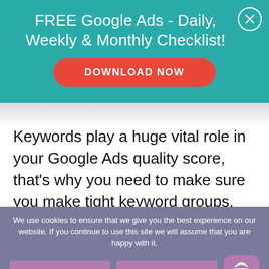FREE Google Ads - Daily, Weekly & Monthly Checklist!
DOWNLOAD NOW
Keywords play a huge vital role in your Google Ads quality score, that's why you need to make sure you make tight keyword groups.
We use cookies to ensure that we give you the best experience on our website. If you continue to use this site we will assume that you are happy with it.
Ok
Privacy policy